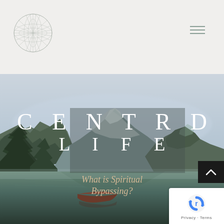Navigation bar with logo and hamburger menu
[Figure (photo): Mountain lake landscape with misty peaks, green forested slopes, calm reflective water, and a small wooden boat in the foreground. Overcast sky with low clouds over mountains.]
CENTRD LIFE
What is Spiritual Bypassing?